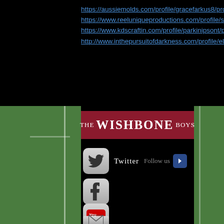https://aussiemolds.com/profile/gracefarkus8/profile
https://www.reeluniqueproductions.com/profile/suemaarxi/profile
https://www.kdscraftin.com/profile/parkinipsont/profile
http://www.inthepursuitofdarkness.com/profile/ellsbartong/profile
[Figure (screenshot): The Wishbone Boys app screenshot showing banner logo in dark red with social media icons for Twitter (with Follow us button), Facebook, YouTube, and Email on a football field background]